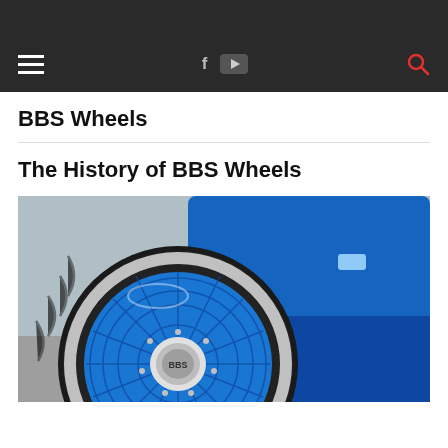BBS Wheels
The History of BBS Wheels
[Figure (photo): Close-up photo of a blue BBS mesh wheel with chrome lip on a blue car, taken from a low angle showing the tire and wheel detail with a parking lot in the background.]